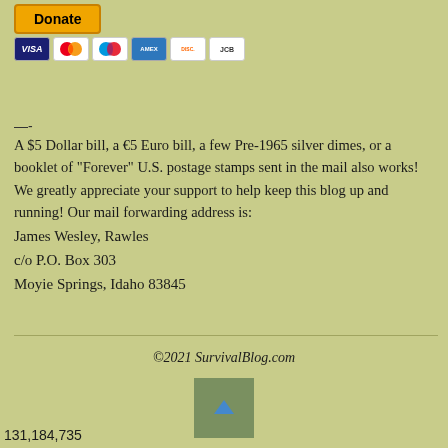[Figure (other): PayPal Donate button with payment card icons (Visa, Mastercard, Maestro, AmEx, Discover, JCB)]
—-
A $5 Dollar bill, a €5 Euro bill, a few Pre-1965 silver dimes, or a booklet of “Forever” U.S. postage stamps sent in the mail also works! We greatly appreciate your support to help keep this blog up and running! Our mail forwarding address is:
James Wesley, Rawles
c/o P.O. Box 303
Moyie Springs, Idaho 83845
©2021 SurvivalBlog.com
[Figure (other): Scroll-to-top arrow button (blue/teal upward arrow on green background)]
131,184,735